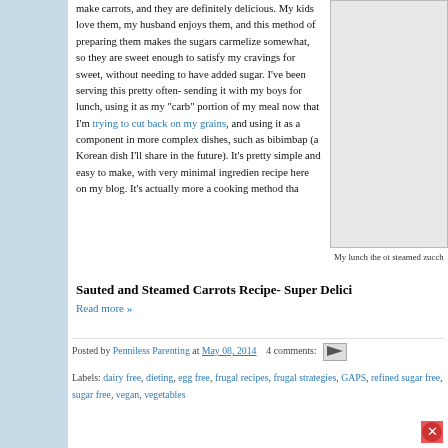make carrots, and they are definitely delicious. My kids love them, my husband enjoys them, and this method of preparing them makes the sugars carmelize somewhat, so they are sweet enough to satisfy my cravings for sweet, without needing to have added sugar. I've been serving this pretty often- sending it with my boys for lunch, using it as my "carb" portion of my meal now that I'm trying to cut back on my grains, and using it as a component in more complex dishes, such as bibimbap (a Korean dish I'll share in the future). It's pretty simple and easy to make, with very minimal ingredients. recipe here on my blog. It's actually more a cooking method tha
[Figure (photo): Photo of a lunch dish — steamed zucchini and other items. Partially visible.]
My lunch the ot steamed zucch
Sauted and Steamed Carrots Recipe- Super Delici
Read more »
Posted by Penniless Parenting at May 08, 2014   4 comments:
Labels: dairy free, dieting, egg free, frugal recipes, frugal strategies, GAPS, refined sugar free, sugar free, vegan, vegetables